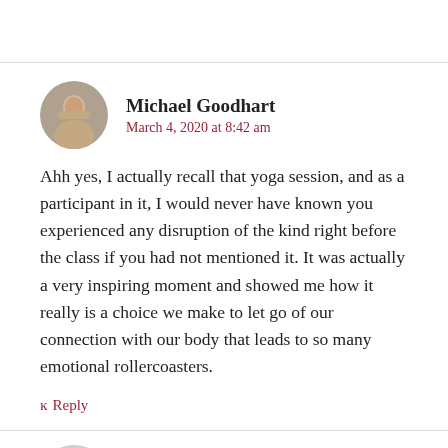Michael Goodhart
March 4, 2020 at 8:42 am
Ahh yes, I actually recall that yoga session, and as a participant in it, I would never have known you experienced any disruption of the kind right before the class if you had not mentioned it. It was actually a very inspiring moment and showed me how it really is a choice we make to let go of our connection with our body that leads to so many emotional rollercoasters.
Reply
Mary Holmes